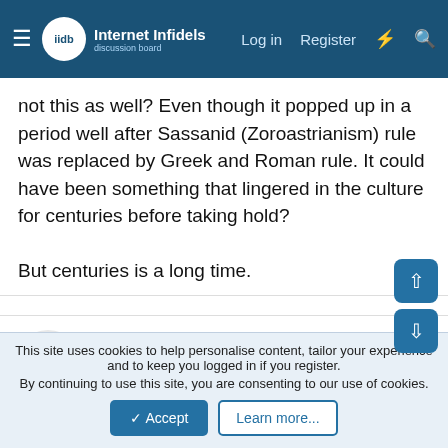Internet Infidels — Log in | Register
not this as well? Even though it popped up in a period well after Sassanid (Zoroastrianism) rule was replaced by Greek and Roman rule. It could have been something that lingered in the culture for centuries before taking hold?

But centuries is a long time.
Lumpenproletariat
Veteran Member
Joined: May 9, 2014
Messages: 2,215
Basic Beliefs: The Truth. "Just the facts, ma'am, just the facts."
Sep 9, 2021  #28
Did something new happen with "Christianity"? in the 1st
This site uses cookies to help personalise content, tailor your experience and to keep you logged in if you register.
By continuing to use this site, you are consenting to our use of cookies.